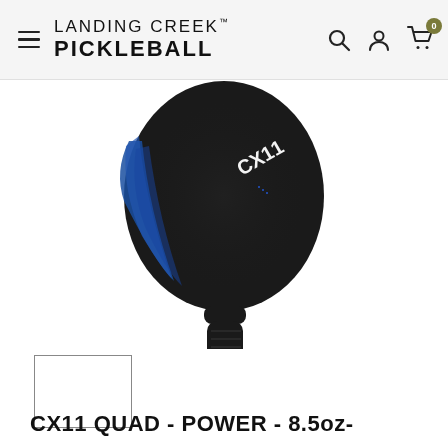LANDING CREEK™ PICKLEBALL
[Figure (photo): CX11 pickleball paddle with black carbon fiber face and blue accent stripe, shown from front with handle pointing downward]
[Figure (photo): Small thumbnail image of the CX11 pickleball paddle (empty/white box placeholder)]
CX11 QUAD - POWER - 8.5oz-